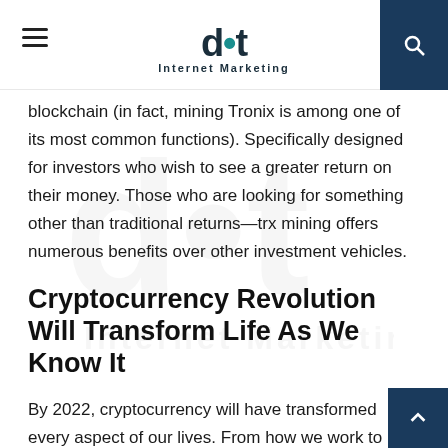dot Internet Marketing
blockchain (in fact, mining Tronix is among one of its most common functions). Specifically designed for investors who wish to see a greater return on their money. Those who are looking for something other than traditional returns—trx mining offers numerous benefits over other investment vehicles.
Cryptocurrency Revolution Will Transform Life As We Know It
By 2022, cryptocurrency will have transformed every aspect of our lives. From how we work to how we socialize and conduct business. Digital currencies will completely upend everything we thought we knew about money. Blockchain has already fundamentally changed our world. But cryptocurrency is where things get really exciting. We're only